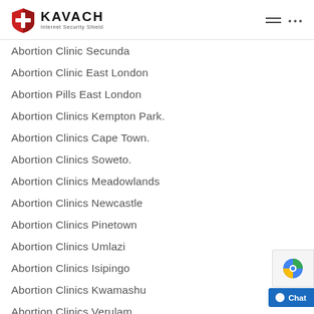KAVACH Internet Security Shield — navigation header
Abortion Clinic Secunda
Abortion Clinic East London
Abortion Pills East London
Abortion Clinics Kempton Park.
Abortion Clinics Cape Town.
Abortion Clinics Soweto.
Abortion Clinics Meadowlands
Abortion Clinics Newcastle
Abortion Clinics Pinetown
Abortion Clinics Umlazi
Abortion Clinics Isipingo
Abortion Clinics Kwamashu
Abortion Clinics Verulam
Abortion Clinics Phoenix